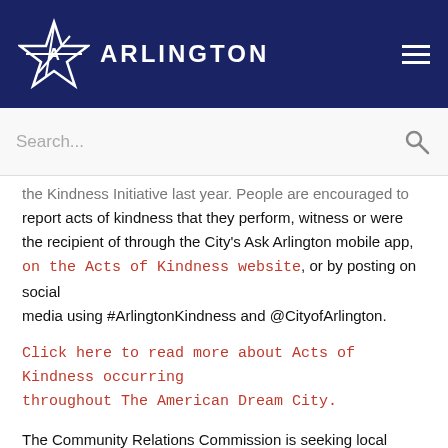[Figure (logo): Arlington city logo with star and text ARLINGTON on dark navy header, with hamburger menu icon]
[Figure (screenshot): Search bar with placeholder text 'Search...' and a search icon]
the Kindness Initiative last year. People are encouraged to report acts of kindness that they perform, witness or were the recipient of through the City's Ask Arlington mobile app, on the Acts of Kindness website, or by posting on social media using #ArlingtonKindness and @CityofArlington.
Click here to read more about Acts of Kindness occurring throughout The American Dream City.
The Community Relations Commission is seeking local businesses to provide rewards that can be used to recognize